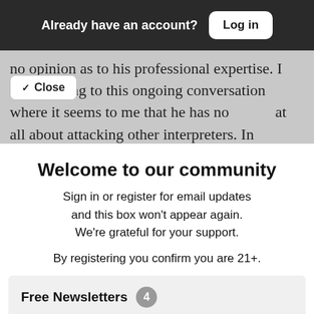Already have an account? Log in
no opinion as to his professional expertise. I am referring to this ongoing conversation where it seems to me that he has no [text cut off] at all about attacking other interpreters. In Elizabeth's
✓ Close
Welcome to our community
Sign in or register for email updates and this box won't appear again. We're grateful for your support.
By registering you confirm you are 21+.
Free Newsletters 4
San Jose Inside Newsletter (weekly)
News and politics from the capital